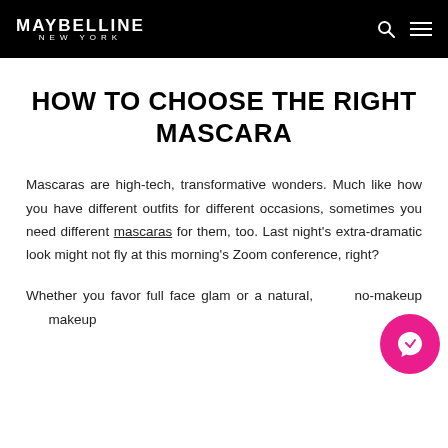MAYBELLINE NEW YORK
HOW TO CHOOSE THE RIGHT MASCARA
Mascaras are high-tech, transformative wonders. Much like how you have different outfits for different occasions, sometimes you need different mascaras for them, too. Last night's extra-dramatic look might not fly at this morning's Zoom conference, right?
Whether you favor full face glam or a natural, no-makeup makeup